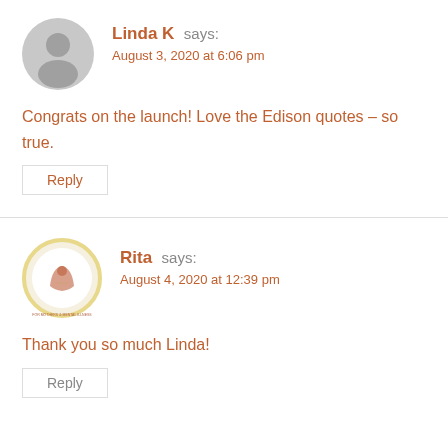[Figure (illustration): Gray default user avatar icon (silhouette of a person in a circle)]
Linda K says:
August 3, 2020 at 6:06 pm
Congrats on the launch! Love the Edison quotes – so true.
Reply
[Figure (logo): Rita's avatar: circular logo with a stylized figure and text around the border on a cream/yellow ring background]
Rita says:
August 4, 2020 at 12:39 pm
Thank you so much Linda!
Reply